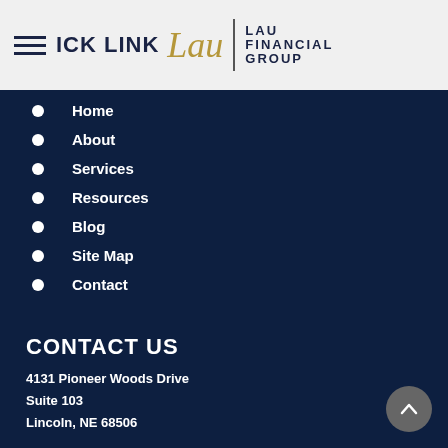QUICK LINKS — Lau Financial Group logo
Home
About
Services
Resources
Blog
Site Map
Contact
CONTACT US
4131 Pioneer Woods Drive
Suite 103
Lincoln, NE 68506